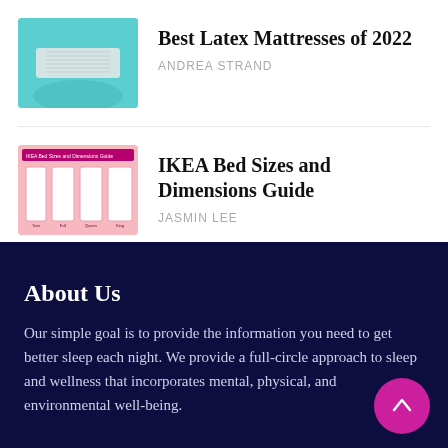[Figure (photo): Thumbnail image of a latex mattress on teal/aqua background]
Best Latex Mattresses of 2022
ANDREA STRAND
[Figure (illustration): Thumbnail showing IKEA bed sizes and dimensions guide with pink background and white bed outlines]
IKEA Bed Sizes and Dimensions Guide
JASMIN LEE
About Us
Our simple goal is to provide the information you need to get better sleep each night. We provide a full-circle approach to sleep and wellness that incorporates mental, physical, and environmental well-being.